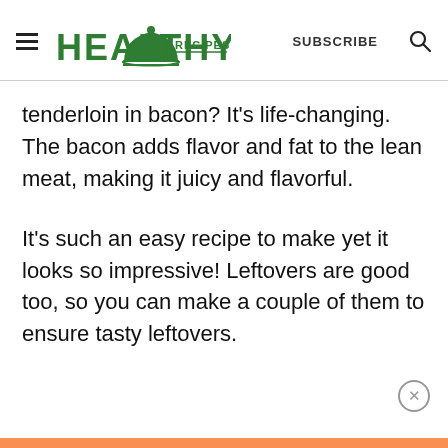HEALTHY RECIPES  SUBSCRIBE
tenderloin in bacon? It's life-changing. The bacon adds flavor and fat to the lean meat, making it juicy and flavorful.
It's such an easy recipe to make yet it looks so impressive! Leftovers are good too, so you can make a couple of them to ensure tasty leftovers.